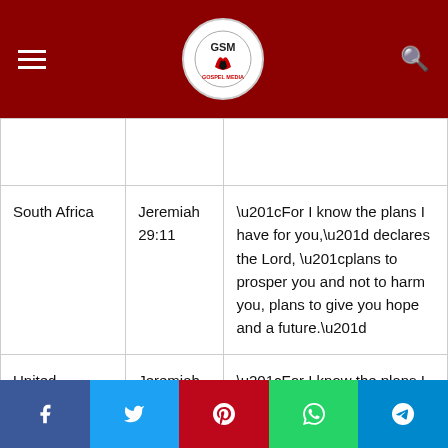GSM Gospel Media header navigation bar
|  | Reference | Verse |
| --- | --- | --- |
|  |  |  |
| South Africa | Jeremiah 29:11 | “For I know the plans I have for you,” declares the Lord, “plans to prosper you and not to harm you, plans to give you hope and a future.” |
| United Kingdom | Jeremiah 29:11 | “For I know the plans I have for you,” declares the Lord, “plans to prosper you and not to harm you, plans to give |
Social share buttons: Facebook, Twitter, Pinterest, WhatsApp, Telegram